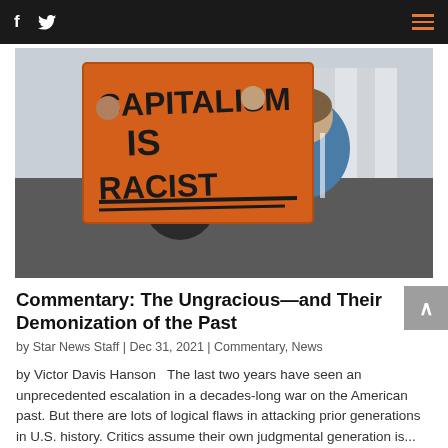f  [twitter icon]  [hamburger menu]
[Figure (photo): Protest photo showing people holding an orange sign reading CAPITALISM IS RACIST in front of classical columns. Viewed from behind.]
Commentary: The Ungracious—and Their Demonization of the Past
by Star News Staff | Dec 31, 2021 | Commentary, News
by Victor Davis Hanson   The last two years have seen an unprecedented escalation in a decades-long war on the American past. But there are lots of logical flaws in attacking prior generations in U.S. history. Critics assume their own judgmental generation is...